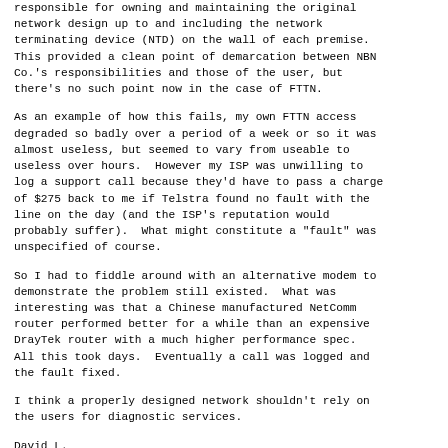responsible for owning and maintaining the original network design up to and including the network terminating device (NTD) on the wall of each premise. This provided a clean point of demarcation between NBN Co.'s responsibilities and those of the user, but there's no such point now in the case of FTTN.
As an example of how this fails, my own FTTN access degraded so badly over a period of a week or so it was almost useless, but seemed to vary from useable to useless over hours.  However my ISP was unwilling to log a support call because they'd have to pass a charge of $275 back to me if Telstra found no fault with the line on the day (and the ISP's reputation would probably suffer).  What might constitute a "fault" was unspecified of course.
So I had to fiddle around with an alternative modem to demonstrate the problem still existed.  What was interesting was that a Chinese manufactured NetComm router performed better for a while than an expensive DrayTek router with a much higher performance spec. All this took days.  Eventually a call was logged and the fault fixed.
I think a properly designed network shouldn't rely on the users for diagnostic services.
David L.